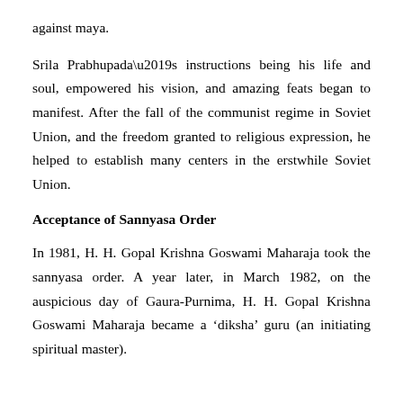against maya.
Srila Prabhupada’s instructions being his life and soul, empowered his vision, and amazing feats began to manifest. After the fall of the communist regime in Soviet Union, and the freedom granted to religious expression, he helped to establish many centers in the erstwhile Soviet Union.
Acceptance of Sannyasa Order
In 1981, H. H. Gopal Krishna Goswami Maharaja took the sannyasa order. A year later, in March 1982, on the auspicious day of Gaura-Purnima, H. H. Gopal Krishna Goswami Maharaja became a ‘diksha’ guru (an initiating spiritual master).